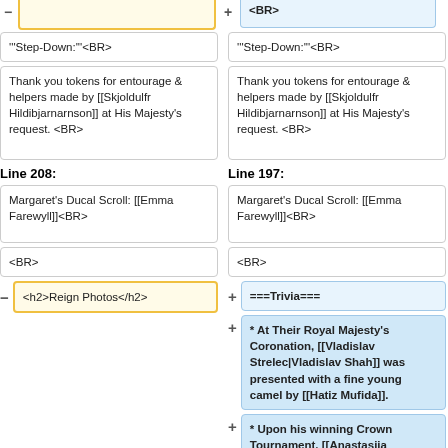– (partial yellow box top left)
+ <BR> (partial blue box top right)
'''Step-Down:'''<BR>
'''Step-Down:'''<BR>
Thank you tokens for entourage & helpers made by [[Skjoldulfr Hildibjarnarnson]] at His Majesty's request. <BR>
Thank you tokens for entourage & helpers made by [[Skjoldulfr Hildibjarnarnson]] at His Majesty's request. <BR>
Line 208:
Line 197:
Margaret's Ducal Scroll: [[Emma Farewyll]]<BR>
Margaret's Ducal Scroll: [[Emma Farewyll]]<BR>
<BR>
<BR>
<h2>Reign Photos</h2>
===Trivia===
* At Their Royal Majesty's Coronation, [[Vladislav Strelec|Vladislav Shah]] was presented with a fine young camel by [[Hatiz Mufida]].
* Upon his winning Crown Tournament, [[Anastasiia Dmitrieva Sokolova ]] life from '''Vladimir that...